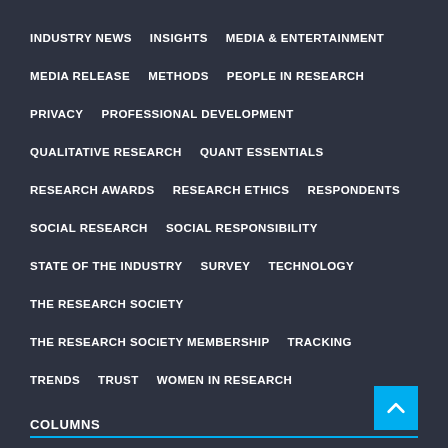INDUSTRY NEWS
INSIGHTS
MEDIA & ENTERTAINMENT
MEDIA RELEASE
METHODS
PEOPLE IN RESEARCH
PRIVACY
PROFESSIONAL DEVELOPMENT
QUALITATIVE RESEARCH
QUANT ESSENTIALS
RESEARCH AWARDS
RESEARCH ETHICS
RESPONDENTS
SOCIAL RESEARCH
SOCIAL RESPONSIBILITY
STATE OF THE INDUSTRY
SURVEY
TECHNOLOGY
THE RESEARCH SOCIETY
THE RESEARCH SOCIETY MEMBERSHIP
TRACKING
TRENDS
TRUST
WOMEN IN RESEARCH
COLUMNS